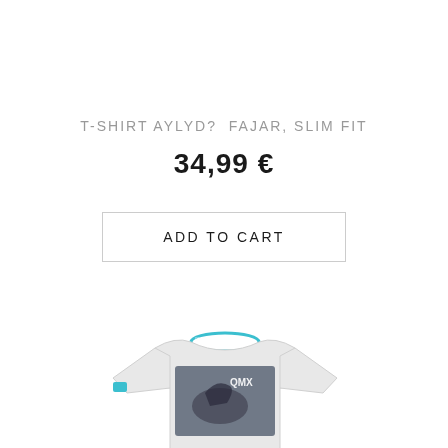T-SHIRT AYLYD? FAJAR, SLIM FIT
34,99 €
ADD TO CART
[Figure (photo): Grey t-shirt with graphic print showing a motocross rider and QMX branding, with turquoise collar detail and sleeve accent]